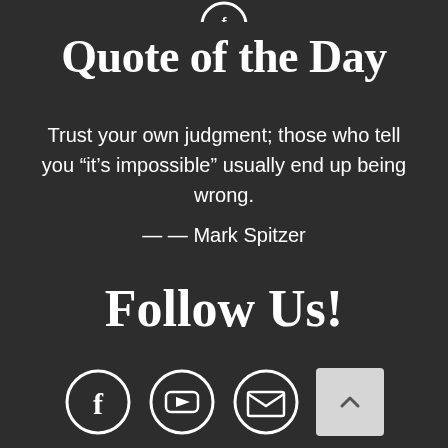[Figure (illustration): Partial circular icon visible at top center, cropped at top edge]
Quote of the Day
Trust your own judgment; those who tell you “it’s impossible” usually end up being wrong.
— — Mark Spitzer
Follow Us!
[Figure (illustration): Three social media icons in circles: Facebook, YouTube, Email/envelope; plus a scroll-to-top button]